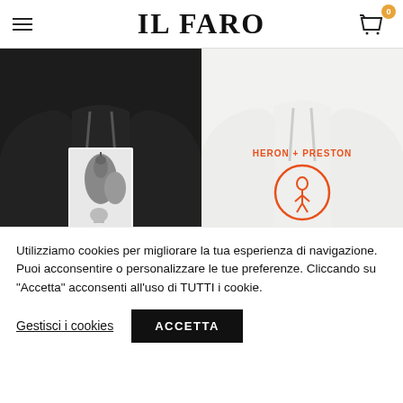IL FARO
[Figure (photo): Two hoodies side by side: left is a black hoodie with a HERON graphic print showing birds and skulls; right is a white hoodie with HERON + PRESTON N.Y.C. 1/199 red logo print. A cookie consent banner overlays the bottom portion of the page.]
Utilizziamo cookies per migliorare la tua esperienza di navigazione. Puoi acconsentire o personalizzare le tue preferenze. Cliccando su "Accetta" acconsenti all'uso di TUTTI i cookie.
Gestisci i cookies  ACCETTA